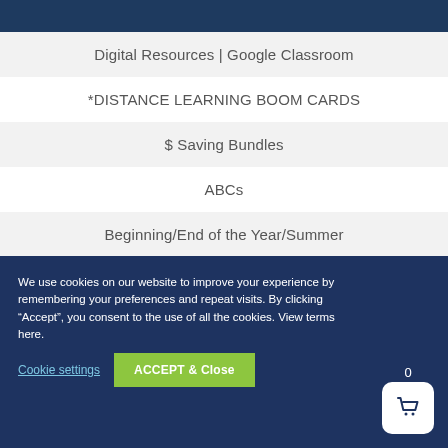Digital Resources | Google Classroom
*DISTANCE LEARNING BOOM CARDS
$ Saving Bundles
ABCs
Beginning/End of the Year/Summer
We use cookies on our website to improve your experience by remembering your preferences and repeat visits. By clicking “Accept”, you consent to the use of all the cookies. View terms here.
Cookie settings
ACCEPT & Close